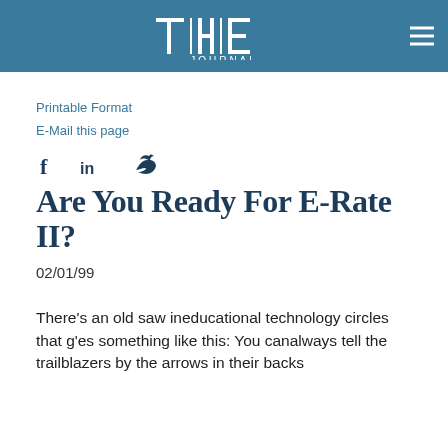THE JOURNAL
Printable Format
E-Mail this page
[Figure (illustration): Social media icons: Facebook (f), LinkedIn (in), Twitter (bird icon)]
Are You Ready For E-Rate II?
02/01/99
There's an old saw ineducational technology circles that g'es something like this: You canalways tell the trailblazers by the arrows in their backs